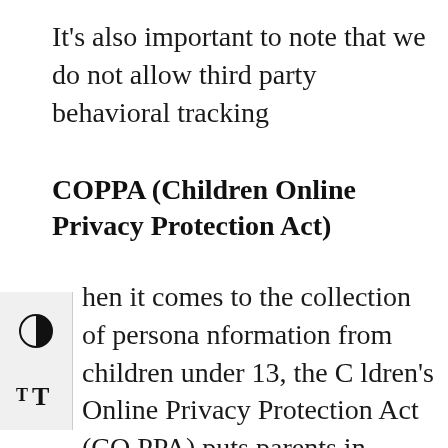It's also important to note that we do not allow third party behavioral tracking
COPPA (Children Online Privacy Protection Act)
hen it comes to the collection of persona nformation from children under 13, the C ldren's Online Privacy Protection Act (CO PPA) puts parents in control. The Federal T rade Commission, the nation's consumer p rotection agency, enforces the COPPA Rule, which spells out what operators of website s and online services must do to protect ch